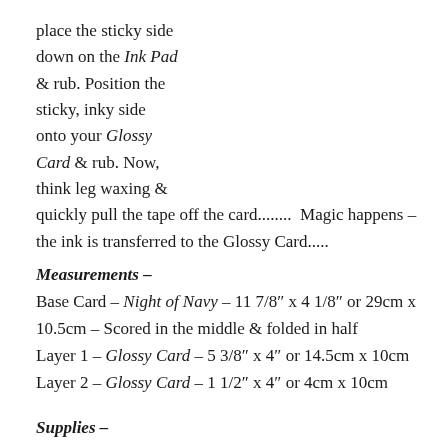place the sticky side down on the Ink Pad & rub.  Position the sticky, inky side onto your Glossy Card & rub.  Now, think leg waxing & quickly pull the tape off the card........  Magic happens – the ink is transferred to the Glossy Card.....
Measurements –
Base Card – Night of Navy – 11 7/8″ x 4 1/8″ or 29cm x 10.5cm – Scored in the middle & folded in half
Layer 1 – Glossy Card – 5 3/8″ x 4″ or 14.5cm x 10cm
Layer 2 – Glossy Card – 1 1/2″ x 4″ or 4cm x 10cm
Supplies –
Stamp Set – Forever Young